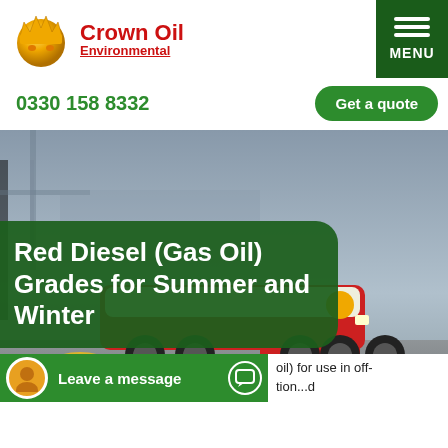[Figure (logo): Crown Oil Environmental logo with golden crown sphere and red text]
MENU
0330 158 8332
Get a quote
[Figure (photo): Crown Oil tanker truck at industrial port/dock background]
Red Diesel (Gas Oil) Grades for Summer and Winter
Leave a message
oil) for use in off-...tion...